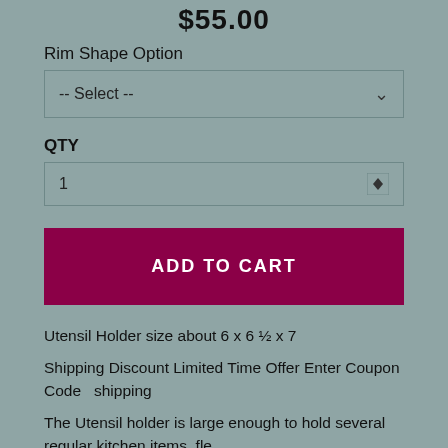$55.00
Rim Shape Option
-- Select --
QTY
1
ADD TO CART
Utensil Holder size about 6 x 6 ½ x 7
Shipping Discount Limited Time Offer Enter Coupon Code   shipping
The Utensil holder is large enough to hold several regular kitchen items, fle ipping, and tion, and more cing